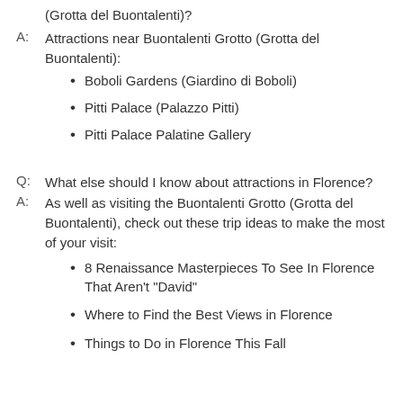(Grotta del Buontalenti)?
A: Attractions near Buontalenti Grotto (Grotta del Buontalenti):
Boboli Gardens (Giardino di Boboli)
Pitti Palace (Palazzo Pitti)
Pitti Palace Palatine Gallery
Q: What else should I know about attractions in Florence?
A: As well as visiting the Buontalenti Grotto (Grotta del Buontalenti), check out these trip ideas to make the most of your visit:
8 Renaissance Masterpieces To See In Florence That Aren't "David"
Where to Find the Best Views in Florence
Things to Do in Florence This Fall